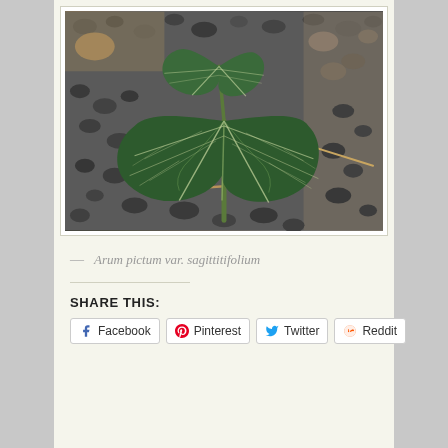[Figure (photo): Close-up photograph of Arum pictum var. sagittitifolium plant showing two large dark green heart-shaped leaves with distinctive white/silver veining pattern, growing in a gravel/stone ground cover.]
— Arum pictum var. sagittitifolium
SHARE THIS:
Facebook
Pinterest
Twitter
Reddit